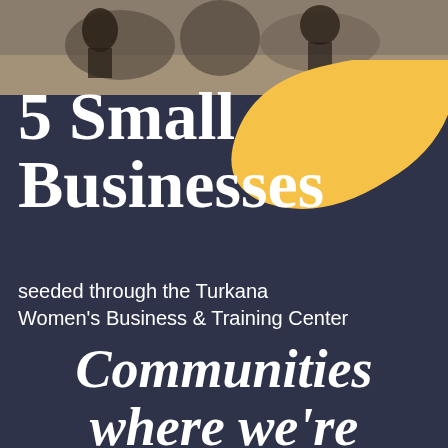[Figure (photo): Top portion of a photo showing people, possibly in an outdoor setting with sandy/dusty ground]
5 Small Businesses
seeded through the Turkana Women's Business & Training Center
Communities where we're invested